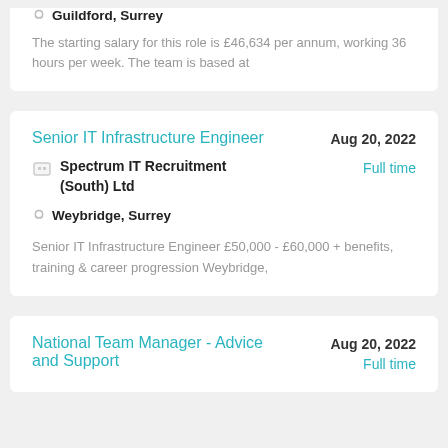Guildford, Surrey
The starting salary for this role is £46,634 per annum, working 36 hours per week. The team is based at
Senior IT Infrastructure Engineer
Aug 20, 2022
Spectrum IT Recruitment (South) Ltd
Full time
Weybridge, Surrey
Senior IT Infrastructure Engineer £50,000 - £60,000 + benefits, training & career progression Weybridge,
National Team Manager - Advice and Support
Aug 20, 2022
Full time